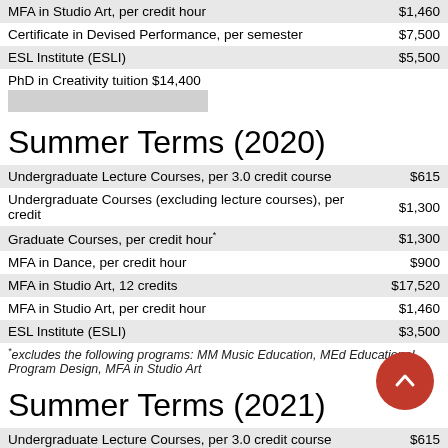| Item | Cost |
| --- | --- |
| MFA in Studio Art, per credit hour | $1,460 |
| Certificate in Devised Performance, per semester | $7,500 |
| ESL Institute (ESLI) | $5,500 |
PhD in Creativity tuition $14,400
Summer Terms (2020)
| Item | Cost |
| --- | --- |
| Undergraduate Lecture Courses, per 3.0 credit course | $615 |
| Undergraduate Courses (excluding lecture courses), per credit | $1,300 |
| Graduate Courses, per credit hour* | $1,300 |
| MFA in Dance, per credit hour | $900 |
| MFA in Studio Art, 12 credits | $17,520 |
| MFA in Studio Art, per credit hour | $1,460 |
| ESL Institute (ESLI) | $3,500 |
*excludes the following programs: MM Music Education, MEd Educational Program Design, MFA in Studio Art
Summer Terms (2021)
| Item | Cost |
| --- | --- |
| Undergraduate Lecture Courses, per 3.0 credit course | $615 |
| Undergraduate Courses (excluding lecture courses), per credit- |  |